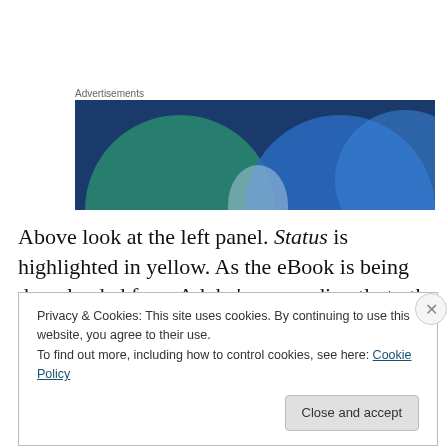[Figure (illustration): Advertisement banner with teal/green and blue overlapping circle shapes on a dark blue background]
Above look at the left panel. Status is highlighted in yellow. As the eBook is being downloaded from Adobe's server directly to the Sony software, those arrows will spin. Once complete …
Privacy & Cookies: This site uses cookies. By continuing to use this website, you agree to their use.
To find out more, including how to control cookies, see here: Cookie Policy